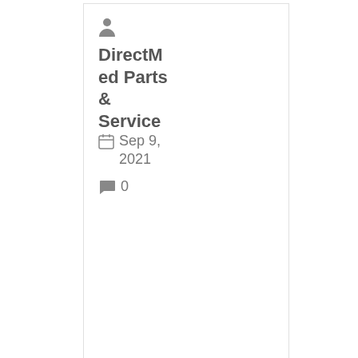DirectMed Parts & Service
Sep 9, 2021
0
[Figure (photo): Photo of a healthcare professional operating a CT scanner with a patient on the table in a clinical setting]
CT
CT Scanner Slice